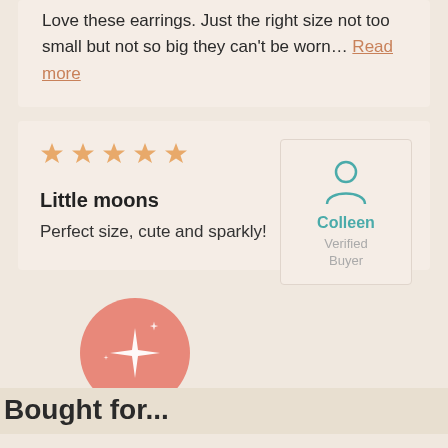Love these earrings. Just the right size not too small but not so big they can't be worn… Read more
[Figure (other): Five orange/gold star rating icons]
Little moons
Perfect size, cute and sparkly!
[Figure (illustration): User avatar icon (person silhouette) in teal color inside a light box]
Colleen
Verified Buyer
[Figure (illustration): Salmon/pink circle with white sparkle/star burst icon inside]
Bought for...